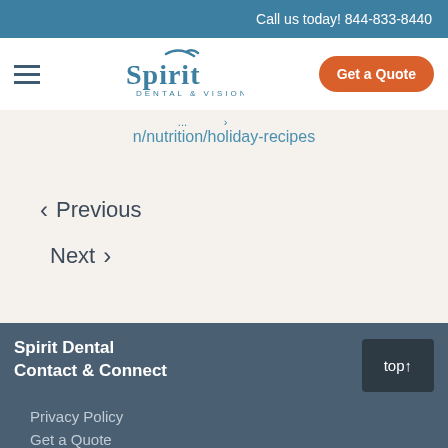Call us today! 844-833-8440
[Figure (logo): Spirit Dental & Vision logo with checkmark swoosh above text and 'DENTAL & VISION' subtitle]
Get a Quote
n/nutrition/holiday-recipes
< Previous
Next >
Spirit Dental
Contact & Connect
top ↑
Privacy Policy
Get a Quote